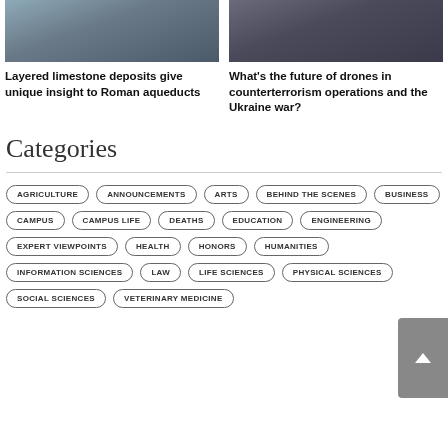[Figure (photo): Photo of a person working with equipment on a desk]
[Figure (photo): Photo of a person in front of bookshelves]
Layered limestone deposits give unique insight to Roman aqueducts
What's the future of drones in counterterrorism operations and the Ukraine war?
Categories
AGRICULTURE
ANNOUNCEMENTS
ARTS
BEHIND THE SCENES
BUSINESS
CAMPUS
CAMPUS LIFE
DEATHS
EDUCATION
ENGINEERING
EXPERT VIEWPOINTS
HEALTH
HONORS
HUMANITIES
INFORMATION SCIENCES
LAW
LIFE SCIENCES
PHYSICAL SCIENCES
SOCIAL SCIENCES
VETERINARY MEDICINE